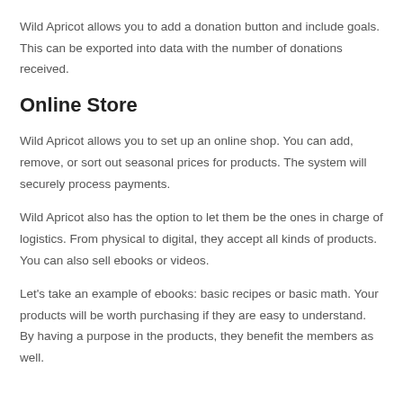Wild Apricot allows you to add a donation button and include goals. This can be exported into data with the number of donations received.
Online Store
Wild Apricot allows you to set up an online shop. You can add, remove, or sort out seasonal prices for products. The system will securely process payments.
Wild Apricot also has the option to let them be the ones in charge of logistics. From physical to digital, they accept all kinds of products. You can also sell ebooks or videos.
Let's take an example of ebooks: basic recipes or basic math. Your products will be worth purchasing if they are easy to understand. By having a purpose in the products, they benefit the members as well.